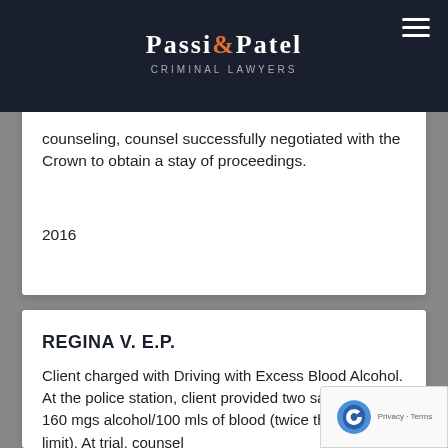[Figure (logo): Passi & Patel Criminal Lawyers logo on dark background with hamburger menu icon]
counseling, counsel successfully negotiated with the Crown to obtain a stay of proceedings.
2016
REGINA V. E.P.
Client charged with Driving with Excess Blood Alcohol. At the police station, client provided two samples of 160 mgs alcohol/100 mls of blood (twice the legal limit). At trial, counsel successfully negotiated...